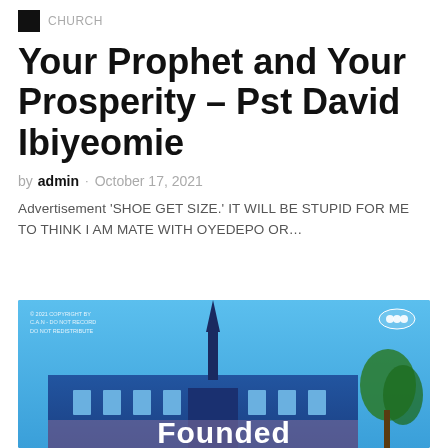CHURCH
Your Prophet and Your Prosperity – Pst David Ibiyeomie
by admin · October 17, 2021
Advertisement 'SHOE GET SIZE.' IT WILL BE STUPID FOR ME TO THINK I AM MATE WITH OYEDEPO OR...
[Figure (photo): Church building photograph with blue sky background, showing a steeple/spire, and text 'Founded' visible at the bottom of the image. Watermark text in top-left corner. Logo in top-right corner.]